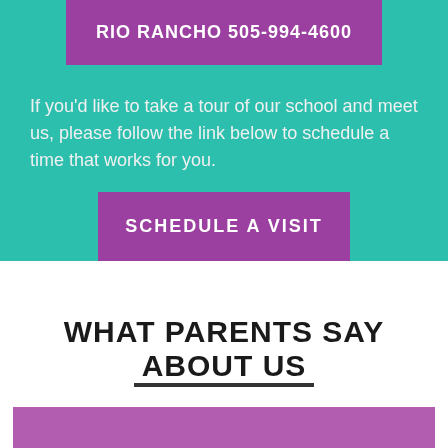RIO RANCHO 505-994-4600
If you'd like to take a tour of our school and meet us, please follow the link below to schedule a time that works for you.
SCHEDULE A VISIT
WHAT PARENTS SAY ABOUT US
[Figure (other): Purple/mauve colored background panel, beginning of a testimonials/parents section]